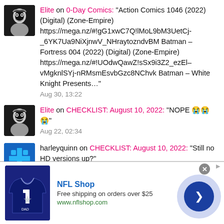Elite on 0-Day Comics: "Action Comics 1046 (2022) (Digital) (Zone-Empire) https://mega.nz/#!gG1xwC7Q!lMoL9bM3UetCj-_6YK7Ua9NiXjnwV_NHraytozndvBM Batman – Fortress 004 (2022) (Digital) (Zone-Empire) https://mega.nz/#!UOdwQawZ!sSx9i3Z2_ezEl-vMgknlSYj-nRMsmEsvbGzc8NChvk Batman – White Knight Presents…" Aug 30, 13:22
Elite on CHECKLIST: August 10, 2022: "NOPE 😭😭😭" Aug 22, 02:34
harleyquinn on CHECKLIST: August 10, 2022: "Still no HD versions up?"
[Figure (screenshot): NFL Shop advertisement banner. Shows a Dallas Cowboys jersey, NFL Shop logo, text: Free shipping on orders over $25, www.nflshop.com, and a blue arrow button.]